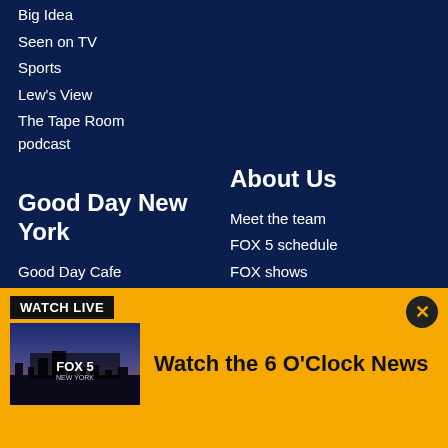Big Idea
Seen on TV
Sports
Lew's View
The Tape Room podcast
Good Day New York
Good Day Cafe
Health
Watch Live
Good Day Street Talk
About Us
Meet the team
FOX 5 schedule
FOX shows
Get Our Apps
Job Opportunities
Public Affairs
WATCH LIVE
[Figure (screenshot): FOX 5 New York thumbnail showing city skyline at dusk with FOX 5 NEW YORK logo overlay]
Watch the 6 O'Clock News